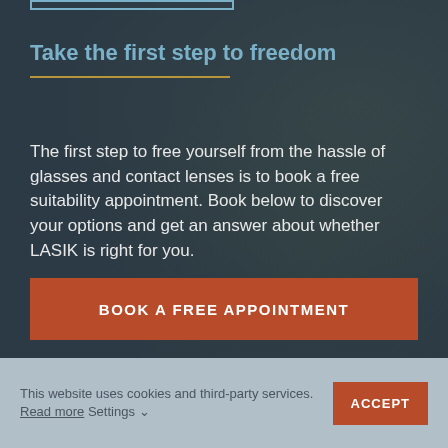Take the first step to freedom
The first step to free yourself from the hassle of glasses and contact lenses is to book a free suitability appointment. Book below to discover your options and get an answer about whether LASIK is right for you.
BOOK A FREE APPOINTMENT
This website uses cookies and third-party services. Read more Settings
ACCEPT